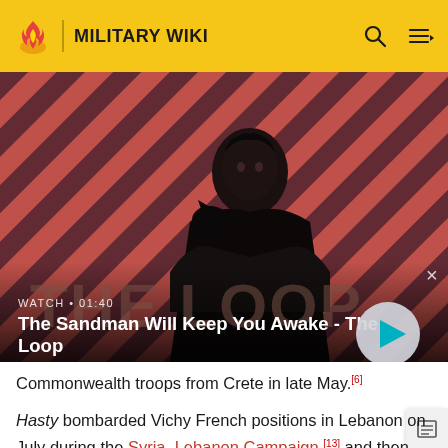MILITARY WIKI
[Figure (screenshot): Video thumbnail for 'The Sandman Will Keep You Awake - The Loop' showing a dark-clad figure with a raven on a red striped background. Watch duration 01:40.]
Commonwealth troops from Crete in late May.[6]
Hasty bombarded Vichy French positions in Lebanon on July during the Syria–Lebanon Campaign,[13] and then spent most of the rest of the year escorting convoys to Tobruk.[6] On 25 November she was escorting the capital